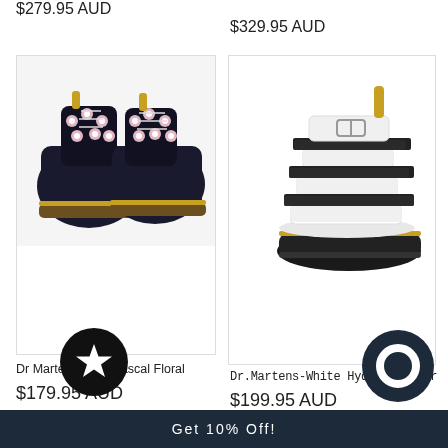$279.95 AUD
$329.95 AUD
[Figure (photo): Dr Martens 1460 Pascal Floral boots with black background and pink floral pattern]
[Figure (photo): Dr Martens white Hydro Leather sandals with black chunky sole and ankle strap]
Dr Martens 1460 Pascal Floral
$179.95 AUD
Dr.Martens-White Hydro Leather
$199.95 AUD
[Figure (illustration): Black circle icon with white star (favorites button)]
[Figure (illustration): Dark navy circle icon with white ring (account/profile button)]
Get 10% Off!